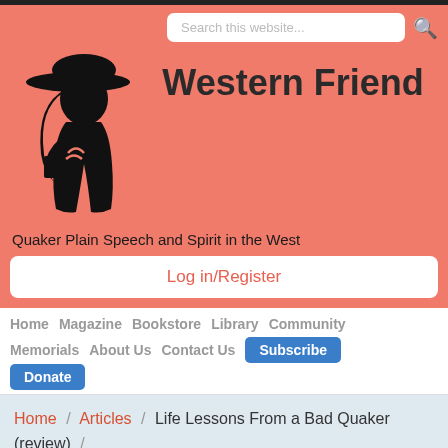[Figure (logo): Western Friend website screenshot showing header with salmon/coral background, silhouette of woman with cowboy hat, site title, search box, navigation, and breadcrumb trail.]
Western Friend
Quaker Plain Speech and Spirit in the West
Log in/Register
Home   Magazine   Bookstore   Library   Community   Memorials   About Us   Contact Us   Subscribe   Donate
Home / Articles / Life Lessons From a Bad Quaker (review) /